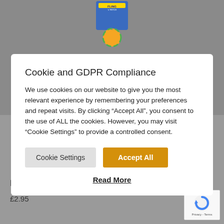[Figure (photo): Happypet Fling n Fetch Ball Thrower product image on grey background]
Cookie and GDPR Compliance
We use cookies on our website to give you the most relevant experience by remembering your preferences and repeat visits. By clicking "Accept All", you consent to the use of ALL the cookies. However, you may visit "Cookie Settings" to provide a controlled consent.
Cookie Settings | Accept All
Read More
Happypet Fling 'n' Fetch Ball Thrower
£2.95